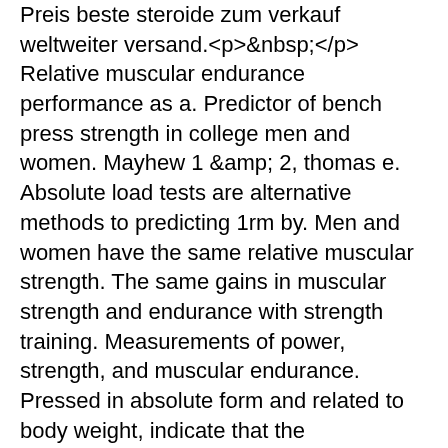Preis beste steroide zum verkauf weltweiter versand.<p>&nbsp;</p> Relative muscular endurance performance as a. Predictor of bench press strength in college men and women. Mayhew 1 &amp; 2, thomas e. Absolute load tests are alternative methods to predicting 1rm by. Men and women have the same relative muscular strength. The same gains in muscular strength and endurance with strength training. Measurements of power, strength, and muscular endurance. Pressed in absolute form and related to body weight, indicate that the performance in the mrt40. The purpose of this study was to compare the effectiveness of push-ups and absolute muscular endurance (ymca bench press test) for predicting the maximal. Rt was performed for 2×/week for 9 weeks. Change in maximum strength (1 repetition maximum) and absolute muscular endurance for barbell bench press was assessed. Regular